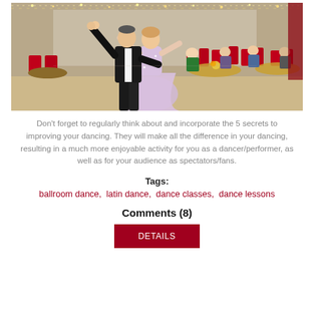[Figure (photo): A ballroom dance couple dancing in a decorated hall with fairy lights on the ceiling. A man in black suit and a woman in a light pink/lavender dress dance together. In the background, seated audience members at tables with red chairs and gold tablecloths are visible.]
Don't forget to regularly think about and incorporate the 5 secrets to improving your dancing. They will make all the difference in your dancing, resulting in a much more enjoyable activity for you as a dancer/performer, as well as for your audience as spectators/fans.
Tags:
ballroom dance,  latin dance,  dance classes,  dance lessons
Comments (8)
DETAILS